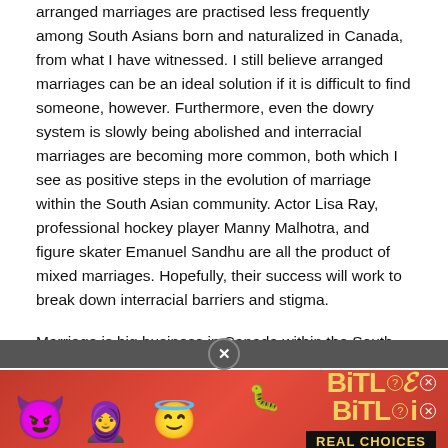arranged marriages are practised less frequently among South Asians born and naturalized in Canada, from what I have witnessed. I still believe arranged marriages can be an ideal solution if it is difficult to find someone, however. Furthermore, even the dowry system is slowly being abolished and interracial marriages are becoming more common, both which I see as positive steps in the evolution of marriage within the South Asian community. Actor Lisa Ray, professional hockey player Manny Malhotra, and figure skater Emanuel Sandhu are all the product of mixed marriages. Hopefully, their success will work to break down interracial barriers and stigma.
Marriage is big business in Canada within the South Asian community. If love marriages have such a huge chance of failure, it may not exactly be a great investment. Marriage
[Figure (screenshot): Mobile advertisement banner for BitLife game. Red background with cartoon devil emoji, girl emoji, and halo smiley emoji on the left. BitLife logo in yellow text on right side with 'REAL CHOICES' tagline in black bar. Close button (X) visible above the ad.]